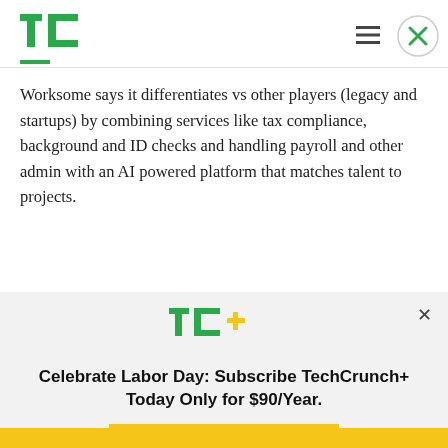TechCrunch
Worksome says it differentiates vs other players (legacy and startups) by combining services like tax compliance, background and ID checks and handling payroll and other admin with an AI powered platform that matches talent to projects.
[Figure (logo): TechCrunch+ logo with green TC and gold plus sign]
Celebrate Labor Day: Subscribe TechCrunch+ Today Only for $90/Year.
GET OFFER NOW